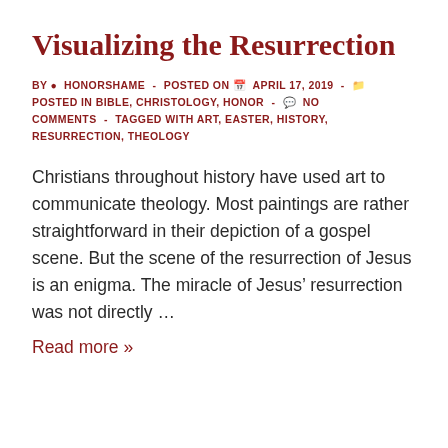Visualizing the Resurrection
BY  HONORSHAME  -  POSTED ON  APRIL 17, 2019  -  POSTED IN BIBLE, CHRISTOLOGY, HONOR  -  NO COMMENTS  -  TAGGED WITH ART, EASTER, HISTORY, RESURRECTION, THEOLOGY
Christians throughout history have used art to communicate theology. Most paintings are rather straightforward in their depiction of a gospel scene. But the scene of the resurrection of Jesus is an enigma. The miracle of Jesus’ resurrection was not directly …
Read more »